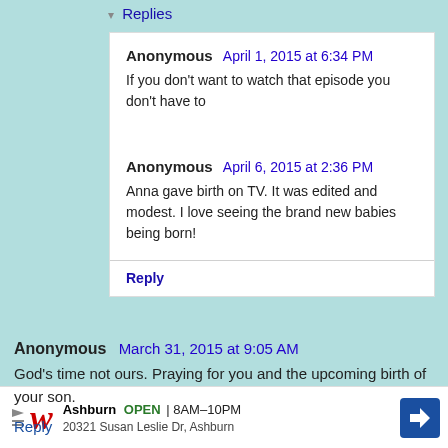▾ Replies
Anonymous  April 1, 2015 at 6:34 PM
If you don't want to watch that episode you don't have to
Anonymous  April 6, 2015 at 2:36 PM
Anna gave birth on TV. It was edited and modest. I love seeing the brand new babies being born!
Reply
Anonymous  March 31, 2015 at 9:05 AM
God's time not ours. Praying for you and the upcoming birth of your son.
Reply
[Figure (screenshot): Walgreens advertisement banner: Ashburn OPEN 8AM-10PM, 20321 Susan Leslie Dr, Ashburn]